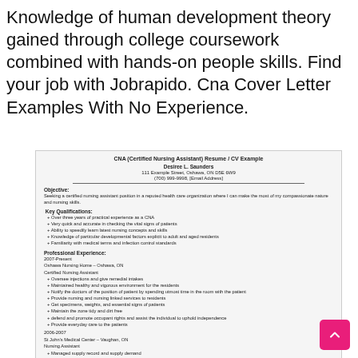Knowledge of human development theory gained through college coursework combined with hands-on people skills. Find your job with Jobrapido. Cna Cover Letter Examples With No Experience.
[Figure (screenshot): Screenshot of a CNA (Certified Nursing Assistant) Resume / CV Example for Desiree L. Saunders, showing objective, key qualifications, and professional experience sections.]